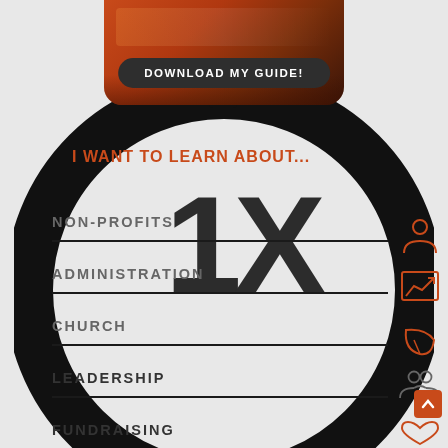[Figure (illustration): Orange/dark banner image at top with download button overlay]
DOWNLOAD MY GUIDE!
[Figure (infographic): Large black circle ring used as decorative background element with '1X' overlay]
I WANT TO LEARN ABOUT...
NON-PROFITS
ADMINISTRATION
CHURCH
LEADERSHIP
FUNDRAISING